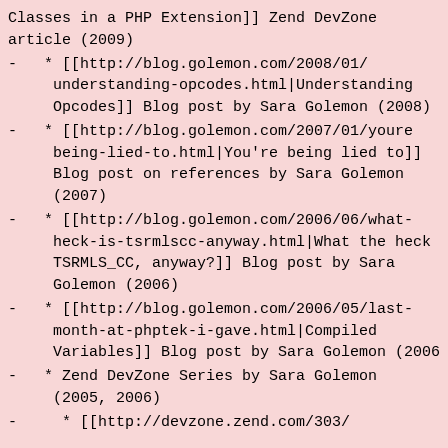Classes in a PHP Extension]] Zend DevZone article (2009)
* [[http://blog.golemon.com/2008/01/understanding-opcodes.html|Understanding Opcodes]] Blog post by Sara Golemon (2008)
* [[http://blog.golemon.com/2007/01/youre-being-lied-to.html|You're being lied to]] Blog post on references by Sara Golemon (2007)
* [[http://blog.golemon.com/2006/06/what-heck-is-tsrmlscc-anyway.html|What the heck TSRMLS_CC, anyway?]] Blog post by Sara Golemon (2006)
* [[http://blog.golemon.com/2006/05/last-month-at-phptek-i-gave.html|Compiled Variables]] Blog post by Sara Golemon (2006)
* Zend DevZone Series by Sara Golemon (2005, 2006)
* [[http://devzone.zend.com/303/